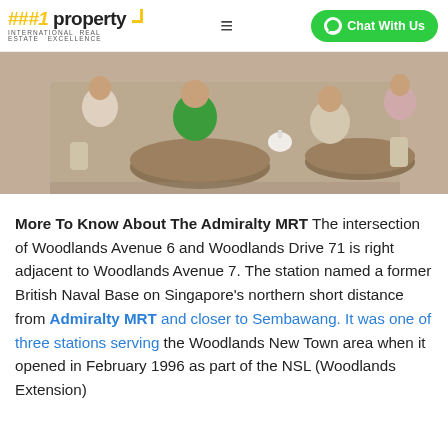##1 property INTERNATIONAL REAL ESTATE EXCELLENCE
[Figure (photo): Photo of people sitting at round tables in a food court or hawker centre, eating and using phones. Crowded indoor dining scene.]
More To Know About The Admiralty MRT The intersection of Woodlands Avenue 6 and Woodlands Drive 71 is right adjacent to Woodlands Avenue 7. The station named a former British Naval Base on Singapore’s northern short distance from Admiralty MRT and closer to Sembawang. It was one of three stations serving the Woodlands New Town area when it opened in February 1996 as part of the NSL (Woodlands Extension)